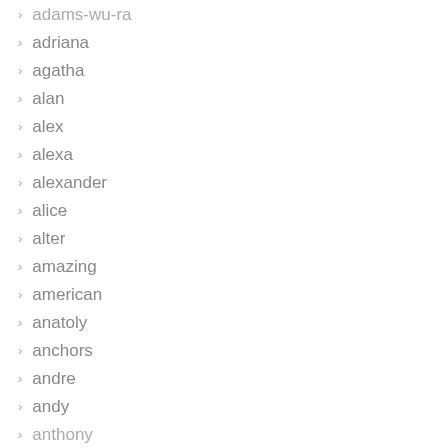adams-wu-ra
adriana
agatha
alan
alex
alexa
alexander
alice
alter
amazing
american
anatoly
anchors
andre
andy
anthony